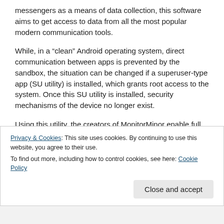messengers as a means of data collection, this software aims to get access to data from all the most popular modern communication tools.
While, in a “clean” Android operating system, direct communication between apps is prevented by the sandbox, the situation can be changed if a superuser-type app (SU utility) is installed, which grants root access to the system. Once this SU utility is installed, security mechanisms of the device no longer exist.
Using this utility, the creators of MonitorMinor enable full access to data on a variety of popular social media and messaging applications such as Hangouts, Instagram, Skype, Snapchat and others.
Privacy & Cookies: This site uses cookies. By continuing to use this website, you agree to their use.
To find out more, including how to control cookies, see here: Cookie Policy
Close and accept